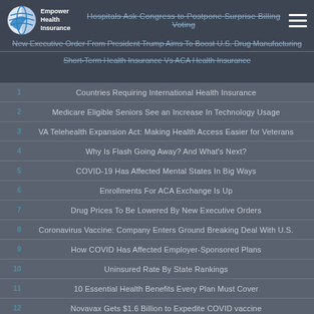Hospitals Ask Congress to Postpone Surprise Billing Voting
New Executive Order From President Trump Aims To Boost U.S. Drug Manufacturing
Short-Term Health Insurance Vs ACA Health Insurance
Countries Requiring International Health Insurance
Medicare Eligible Seniors See an Increase In Technology Usage
VA Telehealth Expansion Act: Making Health Access Easier for Veterans
Why Is Flash Going Away? And What's Next?
COVID-19 Has Affected Mental States In Big Ways
Enrollments For ACA Exchange Is Up
Drug Prices To Be Lowered By New Executive Orders
Coronavirus Vaccine: Company Enters Ground Breaking Deal With U.S.
How COVID Has Affected Employer-Sponsored Plans
Uninsured Rate By State Rankings
10 Essential Health Benefits Every Plan Must Cover
Novavax Gets $1.6 Billion to Expedite COVID vaccine
Prepare for Retirement
Nursing Facilities Open to the Public
Most Expensive Health Procedures Without Insurance
Walgreens Expands Focus on Medical Care